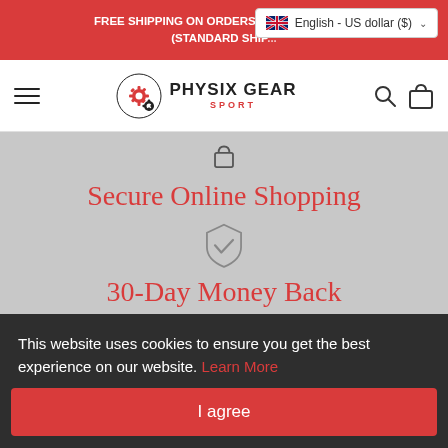FREE SHIPPING ON ORDERS $50 AND ABOVE* (STANDARD SHIP...
[Figure (screenshot): Language selector dropdown showing UK flag, 'English - US dollar ($)' with chevron]
[Figure (logo): Physix Gear Sport logo with gear icon and text]
Secure Online Shopping
30-Day Money Back Guarantee
This website uses cookies to ensure you get the best experience on our website. Learn More
I agree